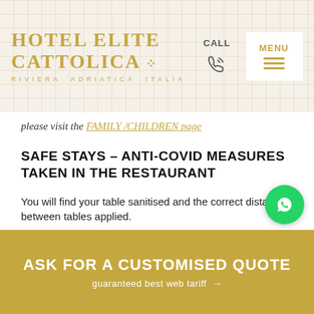HOTEL ELITE CATTOLICA | RIVIERA ADRIATICA ITALIA
please visit the FAMILY /CHILDREN page
SAFE STAYS – ANTI-COVID MEASURES TAKEN IN THE RESTAURANT
You will find your table sanitised and the correct distancing between tables applied.
Breakfast, lunch and dinner are assisted buffet style; th...
ASK FOR A CUSTOMISED QUOTE
guaranteed best web tariff →